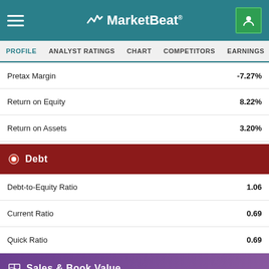MarketBeat
PROFILE  ANALYST RATINGS  CHART  COMPETITORS  EARNINGS  FINANCIALS
| Metric | Value |
| --- | --- |
| Pretax Margin | -7.27% |
| Return on Equity | 8.22% |
| Return on Assets | 3.20% |
Debt
| Metric | Value |
| --- | --- |
| Debt-to-Equity Ratio | 1.06 |
| Current Ratio | 0.69 |
| Quick Ratio | 0.69 |
Sales & Book Value
| Metric | Value |
| --- | --- |
| Annual Sales | $224.12 million |
| Price / Sales | 3.40 |
| Cash Flow | $1.52 per share |
| Price / Cash Flow | 15.59 |